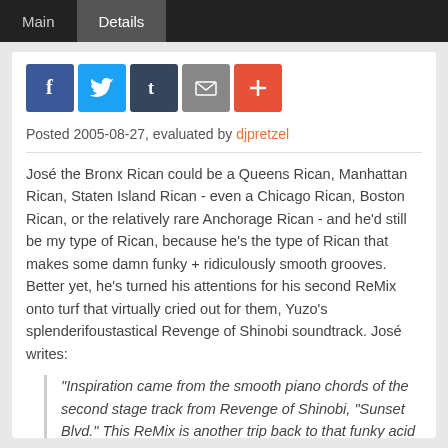Main   Details
[Figure (other): Social sharing buttons: Facebook (blue), Twitter (light blue), Tumblr (dark blue), Email (gray), Plus/More (orange-red)]
Posted 2005-08-27, evaluated by djpretzel
José the Bronx Rican could be a Queens Rican, Manhattan Rican, Staten Island Rican - even a Chicago Rican, Boston Rican, or the relatively rare Anchorage Rican - and he'd still be my type of Rican, because he's the type of Rican that makes some damn funky + ridiculously smooth grooves. Better yet, he's turned his attentions for his second ReMix onto turf that virtually cried out for them, Yuzo's splenderifoustastical Revenge of Shinobi soundtrack. José writes:
"Inspiration came from the smooth piano chords of the second stage track from Revenge of Shinobi, "Sunset Blvd." This ReMix is another trip back to that funky acid flavor I love so much, in